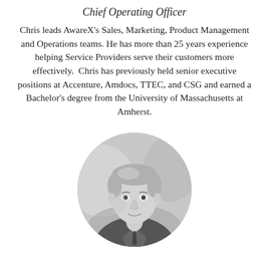Chief Operating Officer
Chris leads AwareX's Sales, Marketing, Product Management and Operations teams. He has more than 25 years experience helping Service Providers serve their customers more effectively.  Chris has previously held senior executive positions at Accenture, Amdocs, TTEC, and CSG and earned a Bachelor's degree from the University of Massachusetts at Amherst.
[Figure (photo): Black and white circular portrait photo of a middle-aged man in a suit and tie, with gray hair, shown from shoulders up against a blurred background.]